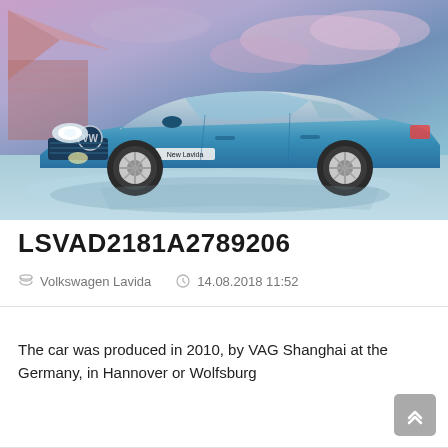[Figure (photo): Photo of a blue Volkswagen Lavida sedan (labeled 'New Lavida') parked in front of a modern building with a pink/purple cloudy sky background. The car is shown from a front three-quarter angle.]
LSVAD2181A2789206
Volkswagen Lavida   14.08.2018 11:52
The car was produced in 2010, by VAG Shanghai at the Germany, in Hannover or Wolfsburg